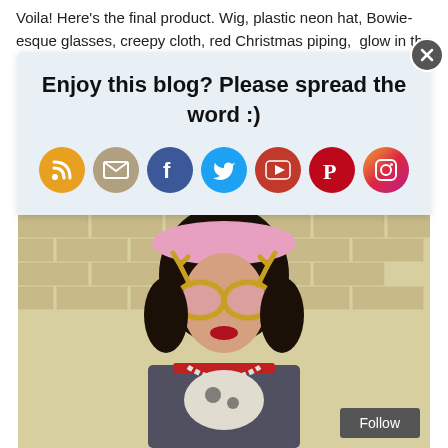Voila! Here's the final product. Wig, plastic neon hat, Bowie-esque glasses, creepy cloth, red Christmas piping,  glow in the
[Figure (infographic): Social media sharing popup with title 'Enjoy this blog? Please spread the word :)' and 7 social media icon circles (RSS, Email, Facebook, Twitter, YouTube, Pinterest, Instagram) on a light blue background with a close X button]
[Figure (photo): Person wearing a black wig, pink plastic neon hat, gold glittery Bowie-esque novelty glasses with antler shapes, red lipstick, red choker necklace, white beaded necklace, patterned top, standing in front of a cream/tan brick wall]
Follow